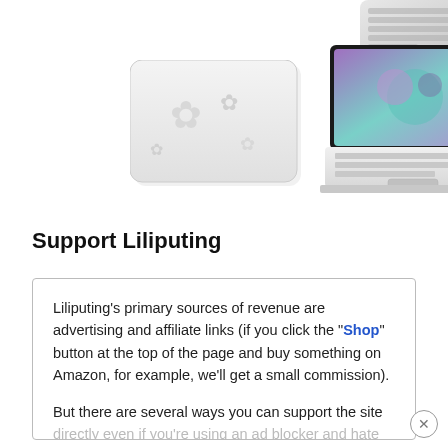[Figure (photo): Top-right corner of a laptop or device, partially cropped]
[Figure (photo): A white rectangular mouse pad with decorative pattern]
[Figure (photo): A white laptop with a purple/teal screen showing a floral or abstract design]
Support Liliputing
Liliputing's primary sources of revenue are advertising and affiliate links (if you click the "Shop" button at the top of the page and buy something on Amazon, for example, we'll get a small commission).
But there are several ways you can support the site directly even if you're using an ad blocker and hate online shopping.